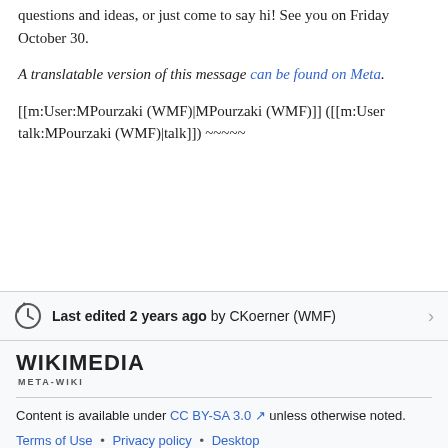questions and ideas, or just come to say hi! See you on Friday October 30.
A translatable version of this message can be found on Meta.
[[m:User:MPourzaki (WMF)|MPourzaki (WMF)]] ([[m:User talk:MPourzaki (WMF)|talk]]) ~~~~~
Last edited 2 years ago by CKoerner (WMF)
[Figure (logo): Wikimedia Meta-Wiki logo wordmark]
Content is available under CC BY-SA 3.0 unless otherwise noted. Terms of Use • Privacy policy • Desktop